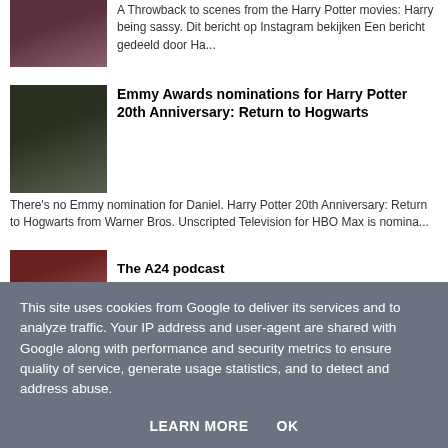[Figure (photo): Portrait thumbnail of a young woman, appears to be from Harry Potter]
A Throwback to scenes from the Harry Potter movies: Harry being sassy. Dit bericht op Instagram bekijken Een bericht gedeeld door Ha...
[Figure (photo): Group photo of Harry Potter cast members]
Emmy Awards nominations for Harry Potter 20th Anniversary: Return to Hogwarts
There's no Emmy nomination for Daniel. Harry Potter 20th Anniversary: Return to Hogwarts from Warner Bros. Unscripted Television for HBO Max is nomina...
[Figure (photo): Podcast thumbnail image]
The A24 podcast
This site uses cookies from Google to deliver its services and to analyze traffic. Your IP address and user-agent are shared with Google along with performance and security metrics to ensure quality of service, generate usage statistics, and to detect and address abuse.
LEARN MORE    OK